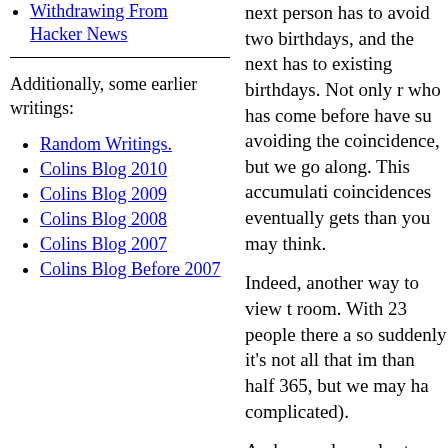Withdrawing From Hacker News
Additionally, some earlier writings:
Random Writings.
Colins Blog 2010
Colins Blog 2009
Colins Blog 2008
Colins Blog 2007
Colins Blog Before 2007
next person has to avoid two birthdays, and the next has to existing birthdays. Not only r who has come before have su avoiding the coincidence, but we go along. This accumulati coincidences eventually gets than you may think.
Indeed, another way to view t room. With 23 people there a so suddenly it's not all that im than half 365, but we may ha complicated).
And normal people stop there it, but certainly most people s
Mathematicians an
But mathematicians aren't no
we were on Jupiter, for exam